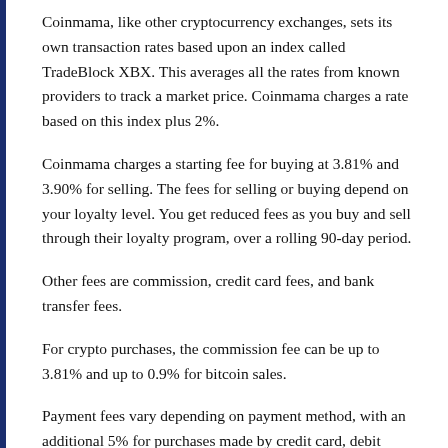Coinmama, like other cryptocurrency exchanges, sets its own transaction rates based upon an index called TradeBlock XBX. This averages all the rates from known providers to track a market price. Coinmama charges a rate based on this index plus 2%.
Coinmama charges a starting fee for buying at 3.81% and 3.90% for selling. The fees for selling or buying depend on your loyalty level. You get reduced fees as you buy and sell through their loyalty program, over a rolling 90-day period.
Other fees are commission, credit card fees, and bank transfer fees.
For crypto purchases, the commission fee can be up to 3.81% and up to 0.9% for bitcoin sales.
Payment fees vary depending on payment method, with an additional 5% for purchases made by credit card, debit card,